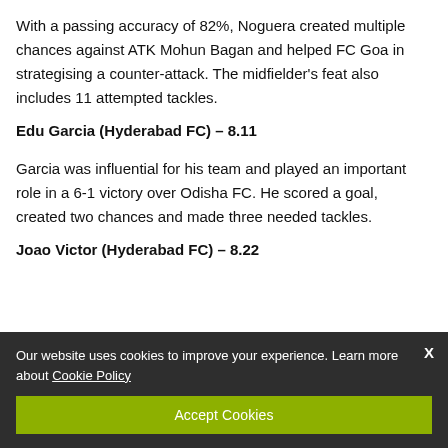With a passing accuracy of 82%, Noguera created multiple chances against ATK Mohun Bagan and helped FC Goa in strategising a counter-attack. The midfielder's feat also includes 11 attempted tackles.
Edu Garcia (Hyderabad FC) – 8.11
Garcia was influential for his team and played an important role in a 6-1 victory over Odisha FC. He scored a goal, created two chances and made three needed tackles.
Joao Victor (Hyderabad FC) – 8.22
Our website uses cookies to improve your experience. Learn more about Cookie Policy
Accept Cookies